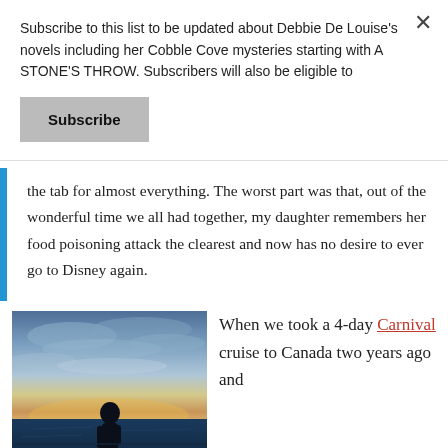Subscribe to this list to be updated about Debbie De Louise's novels including her Cobble Cove mysteries starting with A STONE'S THROW. Subscribers will also be eligible to
Subscribe
the tab for almost everything. The worst part was that, out of the wonderful time we all had together, my daughter remembers her food poisoning attack the clearest and now has no desire to ever go to Disney again.
[Figure (photo): A person looking at the ocean horizon at sunset/dusk from what appears to be a ship or pier, with dramatic cloudy sky in shades of blue, orange, and pink.]
When we took a 4-day Carnival cruise to Canada two years ago and